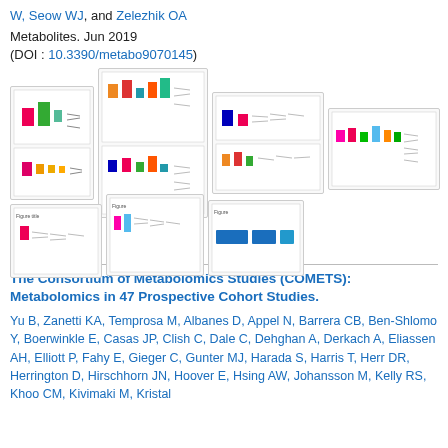W, Seow WJ, and Zelezhik OA
Metabolites. Jun 2019
(DOI : 10.3390/metabo9070145)
[Figure (other): Grid of 9 thumbnail figures from the article, each showing small colorful forest-plot or chart figures.]
The Consortium of Metabolomics Studies (COMETS): Metabolomics in 47 Prospective Cohort Studies.
Yu B, Zanetti KA, Temprosa M, Albanes D, Appel N, Barrera CB, Ben-Shlomo Y, Boerwinkle E, Casas JP, Clish C, Dale C, Dehghan A, Derkach A, Eliassen AH, Elliott P, Fahy E, Gieger C, Gunter MJ, Harada S, Harris T, Herr DR, Herrington D, Hirschhorn JN, Hoover E, Hsing AW, Johansson M, Kelly RS, Khoo CM, Kivimaki M, Kristal